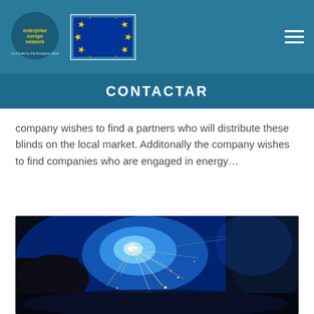[Figure (logo): Enterprise Europe Network logo with EU flag on teal header bar]
CONTACTAR
company wishes to find a partners who will distribute these blinds on the local market. Additonally the company wishes to find companies who are engaged in energy...
[Figure (photo): Close-up photo of a welder working with bright blue electric arc sparks]